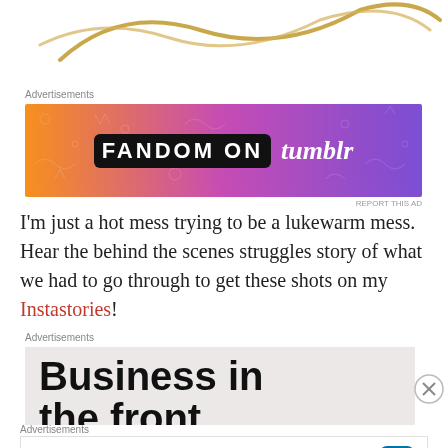[Figure (illustration): Gold script/calligraphy decorative element at top of page]
Advertisements
[Figure (illustration): Fandom on Tumblr banner advertisement with orange to purple gradient background and white doodles]
I'm just a hot mess trying to be a lukewarm mess. Hear the behind the scenes struggles story of what we had to go through to get these shots on my Instastories!
Advertisements
[Figure (illustration): Business in the front advertisement, partially visible text on light pink/beige background]
Advertisements
[Figure (illustration): Build a writing habit. Post on the go. GET THE APP WordPress advertisement]